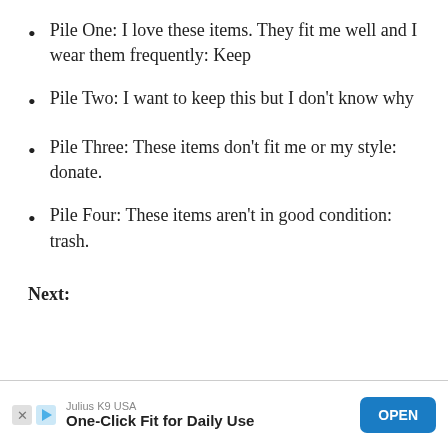Pile One: I love these items. They fit me well and I wear them frequently: Keep
Pile Two: I want to keep this but I don't know why
Pile Three: These items don't fit me or my style: donate.
Pile Four: These items aren't in good condition: trash.
Next:
[Figure (other): Advertisement banner: Julius K9 USA - One-Click Fit for Daily Use with OPEN button]